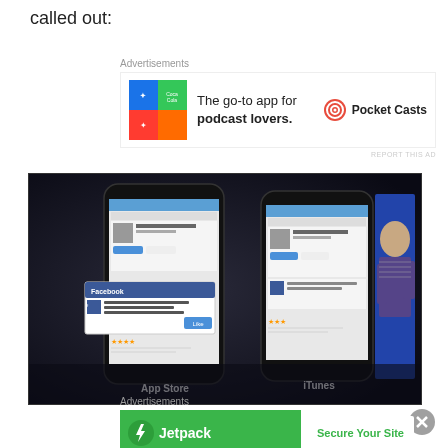called out:
[Figure (other): Advertisement for Pocket Casts: colorful tile logo on left, text 'The go-to app for podcast lovers.' in center, Pocket Casts logo and name on right]
[Figure (screenshot): Presentation screenshot showing two iPhone screens side by side labeled 'App Store' and 'iTunes', with a Facebook popup visible on the App Store screen, and a presenter speaking on the right side against a blue background]
[Figure (other): Advertisement for Jetpack: green banner with Jetpack logo on left and 'Secure Your Site' button on right]